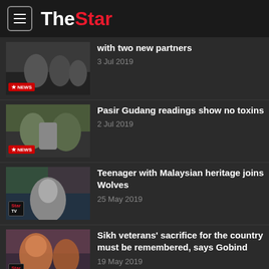The Star
with two new partners — 3 Jul 2019
Pasir Gudang readings show no toxins — 2 Jul 2019
Teenager with Malaysian heritage joins Wolves — 25 May 2019
Sikh veterans' sacrifice for the country must be remembered, says Gobind — 19 May 2019
Wear batik to promote Malaysia's ...